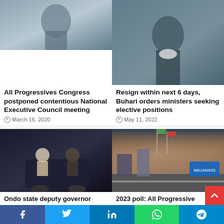[Figure (photo): Man in blue shirt with hand on chin, thoughtful pose]
All Progressives Congress postponed contentious National Executive Council meeting
March 16, 2020
[Figure (photo): Elderly man in grey traditional attire with white face mask at podium]
Resign within next 6 days, Buhari orders ministers seeking elective positions
May 11, 2022
[Figure (photo): People standing near a dark car at night]
Ondo state deputy governor barred from
[Figure (photo): Wide road with billboards and city infrastructure at dusk]
2023 poll: All Progressives Congress has a